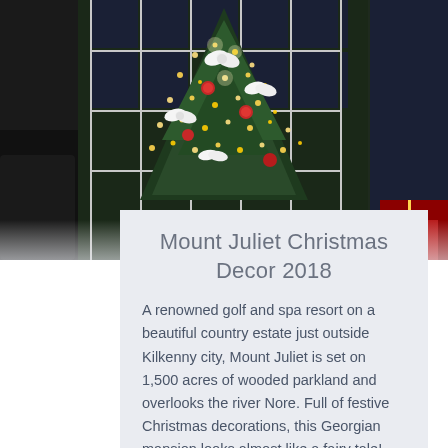[Figure (photo): Indoor Christmas tree with white ribbon bows and red and gold ornaments, lit with warm lights, in front of white-framed windows. Partial view of a dark leather chair on the left and wrapped gifts on the right.]
Mount Juliet Christmas Decor 2018
A renowned golf and spa resort on a beautiful country estate just outside Kilkenny city, Mount Juliet is set on 1,500 acres of wooded parkland and overlooks the river Nore. Full of festive Christmas decorations, this Georgian mansion looks almost like a fairy tale!
Read More